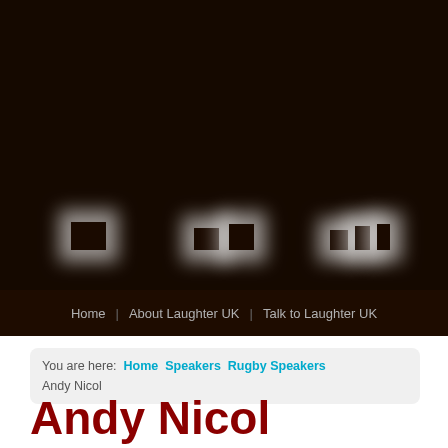[Figure (photo): Dark header background with silhouetted figures illuminated from behind with glowing white light halos, on a very dark brown/black background]
Home | About Laughter UK | Talk to Laughter UK
You are here: Home > Speakers > Rugby Speakers
Andy Nicol
Andy Nicol